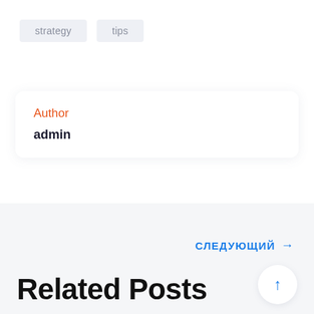strategy
tips
Author
admin
СЛЕДУЮЩИЙ →
Related Posts